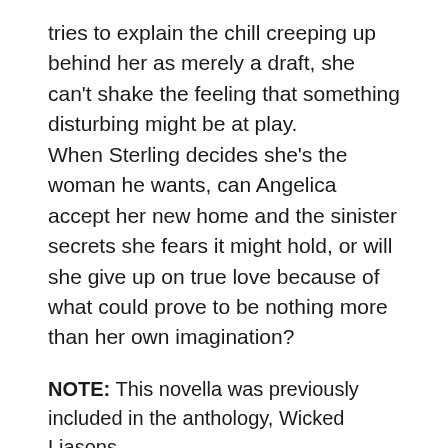tries to explain the chill creeping up behind her as merely a draft, she can't shake the feeling that something disturbing might be at play. When Sterling decides she's the woman he wants, can Angelica accept her new home and the sinister secrets she fears it might hold, or will she give up on true love because of what could prove to be nothing more than her own imagination?
NOTE: This novella was previously included in the anthology, Wicked Liasons
Amazon
B&N
Kobo